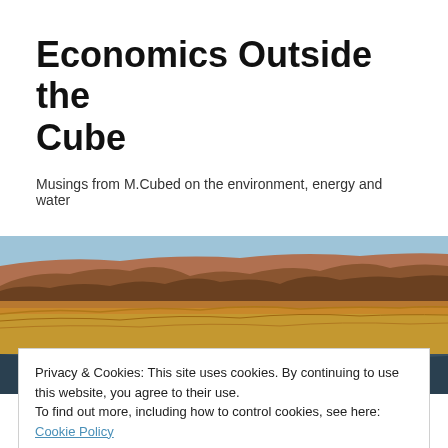Economics Outside the Cube
Musings from M.Cubed on the environment, energy and water
[Figure (photo): Landscape photograph showing desert hills/buttes with dry golden grassland in foreground and blue sky above]
[Figure (photo): Partial dark photo strip, appears to show a person or object, partially obscured]
Transmission: the hidden cost
Privacy & Cookies: This site uses cookies. By continuing to use this website, you agree to their use.
To find out more, including how to control cookies, see here: Cookie Policy
generation (DG) had displaced $2.6 billion in transmission